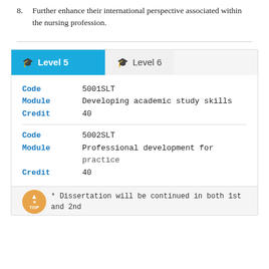8. Further enhance their international perspective associated within the nursing profession.
| Field | Value |
| --- | --- |
| Code | 5001SLT |
| Module | Developing academic study skills |
| Credit | 40 |
| Code | 5002SLT |
| Module | Professional development for practice |
| Credit | 40 |
* Dissertation will be continued in both 1st and 2nd